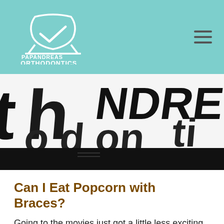Papandreas Orthodontics
[Figure (photo): Close-up photo of large 3D black letters spelling out 'orthodontics' on a white background, shot at an angle with dramatic lighting. A black banner overlays the bottom portion of the image.]
Can I Eat Popcorn with Braces?
Going to the movies just got a little less exciting. Those who wear metal aligners are advised not to eat popcorn. Although the white, puffy parts of the popcorn don't seem to pose too much of a threat